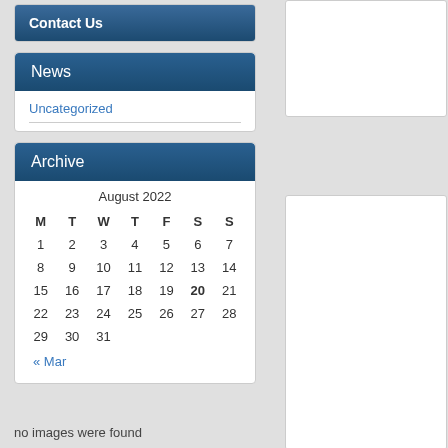Contact Us
News
Uncategorized
Archive
| M | T | W | T | F | S | S |
| --- | --- | --- | --- | --- | --- | --- |
| 1 | 2 | 3 | 4 | 5 | 6 | 7 |
| 8 | 9 | 10 | 11 | 12 | 13 | 14 |
| 15 | 16 | 17 | 18 | 19 | 20 | 21 |
| 22 | 23 | 24 | 25 | 26 | 27 | 28 |
| 29 | 30 | 31 |  |  |  |  |
« Mar
no images were found